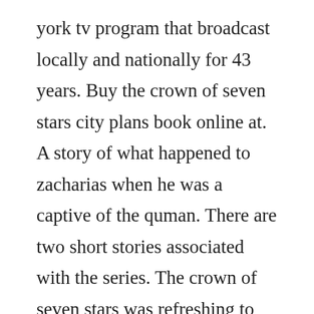york tv program that broadcast locally and nationally for 43 years. Buy the crown of seven stars city plans book online at. A story of what happened to zacharias when he was a captive of the quman. There are two short stories associated with the series. The crown of seven stars was refreshing to me because as the pages unfurled it became apparent that the crown was only a lure. Kate is a very sublte writer, clever in many ways and depending upon your perspective and how you want to interupt the information provided, all questions are answered.